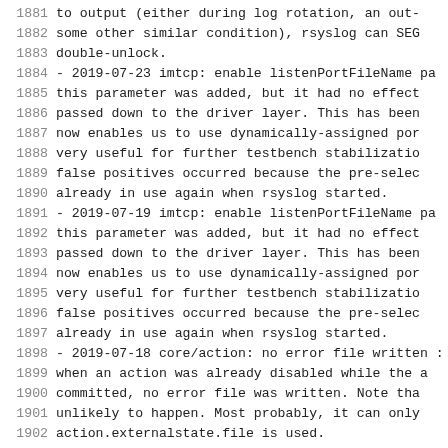1881     to output (either during log rotation, an out-
1882     some other similar condition), rsyslog can SEG
1883     double-unlock.
1884   - 2019-07-23 imtcp: enable listenPortFileName pa
1885     this parameter was added, but it had no effect
1886     passed down to the driver layer. This has been
1887     now enables us to use dynamically-assigned por
1888     very useful for further testbench stabilization
1889     false positives occurred because the pre-selec
1890     already in use again when rsyslog started.
1891   - 2019-07-19 imtcp: enable listenPortFileName pa
1892     this parameter was added, but it had no effect
1893     passed down to the driver layer. This has been
1894     now enables us to use dynamically-assigned por
1895     very useful for further testbench stabilization
1896     false positives occurred because the pre-selec
1897     already in use again when rsyslog started.
1898   - 2019-07-18 core/action: no error file written :
1899     when an action was already disabled while the a
1900     committed, no error file was written. Note tha
1901     unlikely to happen. Most probably, it can only
1902     action.externalstate.file is used.